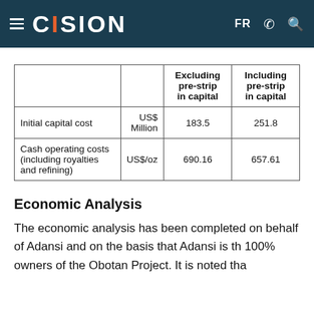CISION — FR
|  |  | Excluding pre-strip in capital | Including pre-strip in capital |
| --- | --- | --- | --- |
| Initial capital cost | US$ Million | 183.5 | 251.8 |
| Cash operating costs (including royalties and refining) | US$/oz | 690.16 | 657.61 |
Economic Analysis
The economic analysis has been completed on behalf of Adansi and on the basis that Adansi is the 100% owners of the Obotan Project. It is noted that